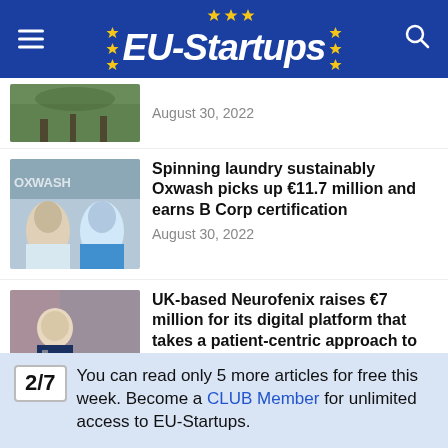EU-Startups
[Figure (photo): Partial thumbnail of an article, green/nature background]
August 30, 2022
[Figure (photo): Two men standing in front of Oxwash signage]
Spinning laundry sustainably Oxwash picks up €11.7 million and earns B Corp certification
August 30, 2022
[Figure (photo): Man in suit with crossed arms, busy street background]
UK-based Neurofenix raises €7 million for its digital platform that takes a patient-centric approach to rehabilitation
August 30, 2022
2/7  You can read only 5 more articles for free this week. Become a CLUB Member for unlimited access to EU-Startups.